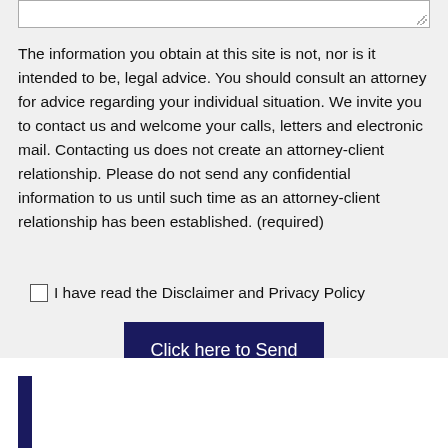The information you obtain at this site is not, nor is it intended to be, legal advice. You should consult an attorney for advice regarding your individual situation. We invite you to contact us and welcome your calls, letters and electronic mail. Contacting us does not create an attorney-client relationship. Please do not send any confidential information to us until such time as an attorney-client relationship has been established. (required)
I have read the Disclaimer and Privacy Policy
Click here to Send